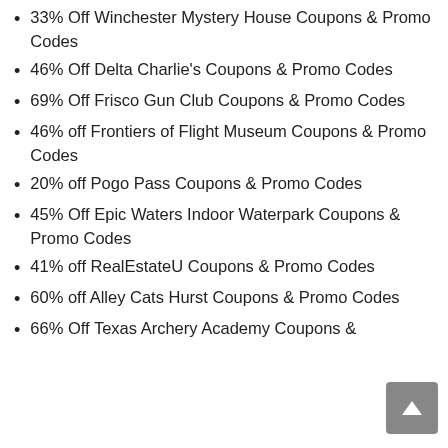33% Off Winchester Mystery House Coupons & Promo Codes
46% Off Delta Charlie's Coupons & Promo Codes
69% Off Frisco Gun Club Coupons & Promo Codes
46% off Frontiers of Flight Museum Coupons & Promo Codes
20% off Pogo Pass Coupons & Promo Codes
45% Off Epic Waters Indoor Waterpark Coupons & Promo Codes
41% off RealEstateU Coupons & Promo Codes
60% off Alley Cats Hurst Coupons & Promo Codes
66% Off Texas Archery Academy Coupons &